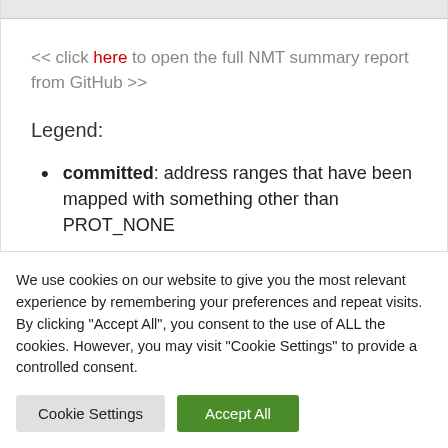<< click here to open the full NMT summary report from GitHub >>
Legend:
committed: address ranges that have been mapped with something other than PROT_NONE
reserved: the total address range that
We use cookies on our website to give you the most relevant experience by remembering your preferences and repeat visits. By clicking "Accept All", you consent to the use of ALL the cookies. However, you may visit "Cookie Settings" to provide a controlled consent.